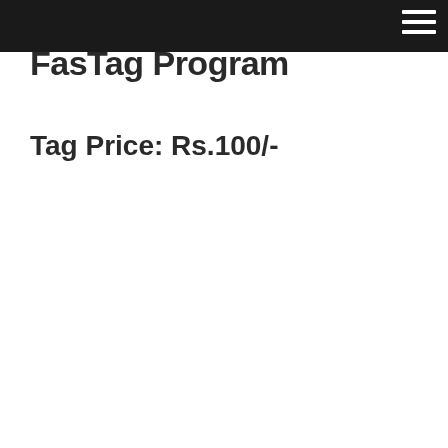FasTag Program
Tag Price: Rs.100/-